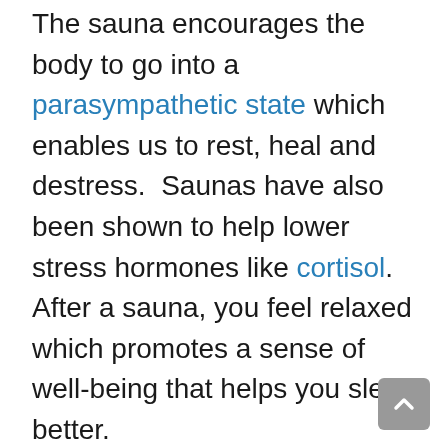The sauna encourages the body to go into a parasympathetic state which enables us to rest, heal and destress. Saunas have also been shown to help lower stress hormones like cortisol. After a sauna, you feel relaxed which promotes a sense of well-being that helps you sleep better.
Healthy Heart
While saunas are not a replacement for regular exercise, research has shown that regular sauna use can be good for your heart and blood vessels. Regular